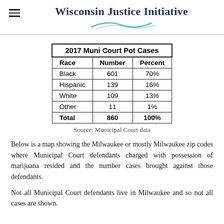Wisconsin Justice Initiative
| 2017 Muni Court Pot Cases |  |  |
| --- | --- | --- |
| Race | Number | Percent |
| Black | 601 | 70% |
| Hispanic | 139 | 16% |
| White | 109 | 13% |
| Other | 11 | 1% |
| Total | 860 | 100% |
Source: Municipal Court data
Below is a map showing the Milwaukee or mostly Milwaukee zip codes where Municipal Court defendants charged with possession of marijuana resided and the number cases brought against those defendants.
Not all Municipal Court defendants live in Milwaukee and so not all cases are shown.